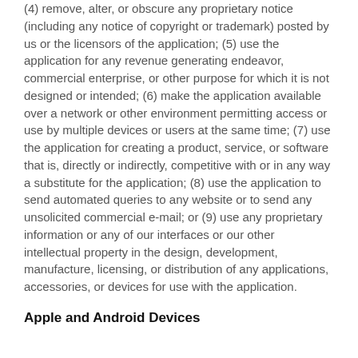(4) remove, alter, or obscure any proprietary notice (including any notice of copyright or trademark) posted by us or the licensors of the application; (5) use the application for any revenue generating endeavor, commercial enterprise, or other purpose for which it is not designed or intended; (6) make the application available over a network or other environment permitting access or use by multiple devices or users at the same time; (7) use the application for creating a product, service, or software that is, directly or indirectly, competitive with or in any way a substitute for the application; (8) use the application to send automated queries to any website or to send any unsolicited commercial e-mail; or (9) use any proprietary information or any of our interfaces or our other intellectual property in the design, development, manufacture, licensing, or distribution of any applications, accessories, or devices for use with the application.
Apple and Android Devices